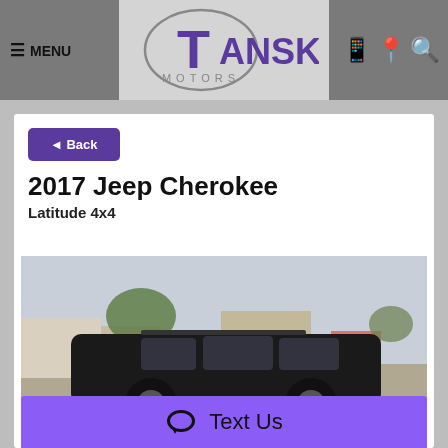[Figure (logo): Tansky Motors logo with purple T and ring graphic, gray Motors text beneath]
≡ MENU
2017 Jeep Cherokee
Latitude 4x4
[Figure (photo): Photo of a dark-colored 2017 Jeep Cherokee SUV parked on a street with buildings and trees in the background]
◄ Back
💬 Text Us